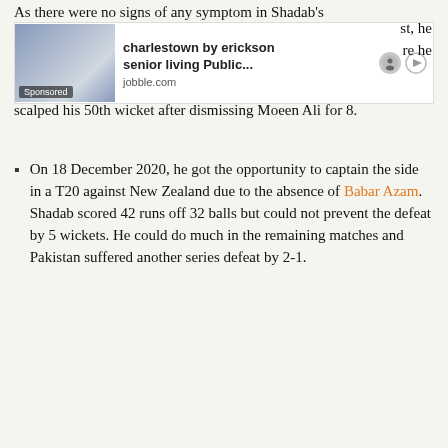As there were no signs of any symptom in Shadab's
[Figure (screenshot): Advertisement banner: charlestown by erickson senior living Public... from jobble.com with Sponsored label, person working on laptop]
scalped his 50th wicket after dismissing Moeen Ali for 8.
On 18 December 2020, he got the opportunity to captain the side in a T20 against New Zealand due to the absence of Babar Azam. Shadab scored 42 runs off 32 balls but could not prevent the defeat by 5 wickets. He could do much in the remaining matches and Pakistan suffered another series defeat by 2-1.
[Figure (photo): Cricket player (presumably Shadab Khan) on field at a stadium with ASB and KIA M advertising boards visible]
[Figure (screenshot): Advertisement banner: pew charitable trusts Public Accounting - Senior Jobs in... from jobble.com with Sponsored label]